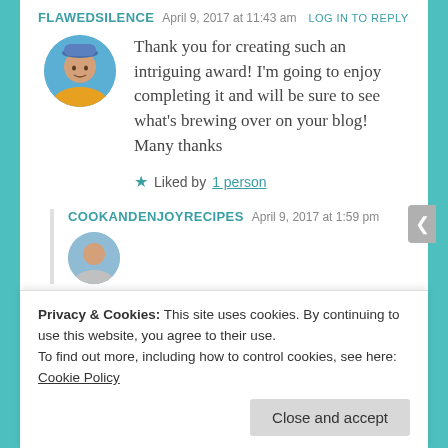FLAWEDSILENCE   April 9, 2017 at 11:43 am   LOG IN TO REPLY
Thank you for creating such an intriguing award! I'm going to enjoy completing it and will be sure to see what's brewing over on your blog! Many thanks
Liked by 1 person
COOKANDENJOYRECIPES   April 9, 2017 at 1:59 pm
Privacy & Cookies: This site uses cookies. By continuing to use this website, you agree to their use. To find out more, including how to control cookies, see here: Cookie Policy
Close and accept